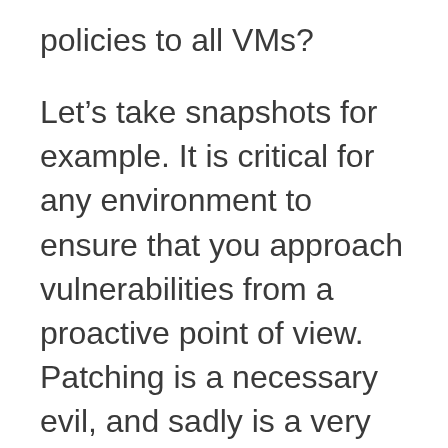policies to all VMs?
Let’s take snapshots for example. It is critical for any environment to ensure that you approach vulnerabilities from a proactive point of view. Patching is a necessary evil, and sadly is a very reactive practice. This is why we have things like “Super Tuesday” to dedicate time to patching the latest security holes. But what is during